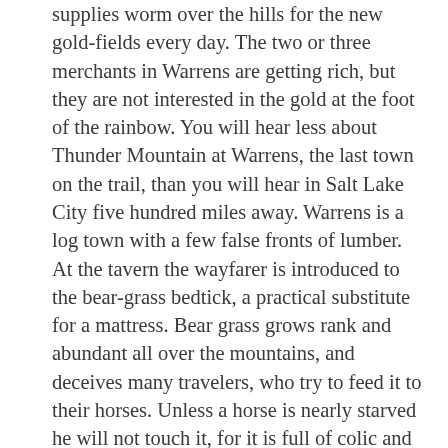supplies worm over the hills for the new gold-fields every day. The two or three merchants in Warrens are getting rich, but they are not interested in the gold at the foot of the rainbow. You will hear less about Thunder Mountain at Warrens, the last town on the trail, than you will hear in Salt Lake City five hundred miles away. Warrens is a log town with a few false fronts of lumber. At the tavern the wayfarer is introduced to the bear-grass bedtick, a practical substitute for a mattress. Bear grass grows rank and abundant all over the mountains, and deceives many travelers, who try to feed it to their horses. Unless a horse is nearly starved he will not touch it, for it is full of colic and its way leads down to death. But a tick full of it is the only luxury there is in the mountains. It is even better than a spruce-bough bed, and there are sybarites who make the base or foundation of their bed of pine overlaid with spruce and on that lay a tick of bear grass, but these choice spirits are few, for a rough road and a hard day's work put feathers in any bed.